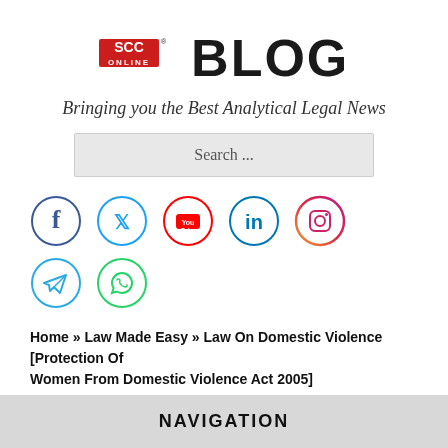[Figure (logo): SCC Online Blog logo with red SCC Online badge and large BLOG text]
Bringing you the Best Analytical Legal News
[Figure (other): Search bar with placeholder text 'Search ...']
[Figure (other): Social media icons: Facebook, Twitter, YouTube, LinkedIn, Instagram, Telegram, WhatsApp]
Home » Law Made Easy » Law On Domestic Violence [Protection Of Women From Domestic Violence Act 2005]
NAVIGATION